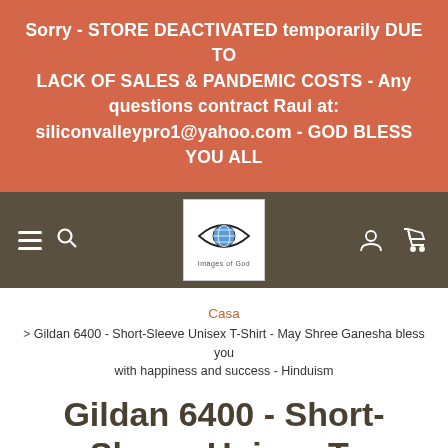Sorry - STORE DEACTIVATED temporarily DUE TO LACK OF SALES & PANDEMIC COSTS - Any questions contract Raul at: siliconvalleypro1@yahoo.com - GOD BLESS YOU ALL
[Figure (logo): Images of God store logo: an eye shape with a globe/earth inside, text 'Images of God' below]
Casa
> Gildan 6400 - Short-Sleeve Unisex T-Shirt - May Shree Ganesha bless you with happiness and success - Hinduism
Gildan 6400 - Short-Sleeve Unisex T-Shirt - May Shree Ganesha bless you